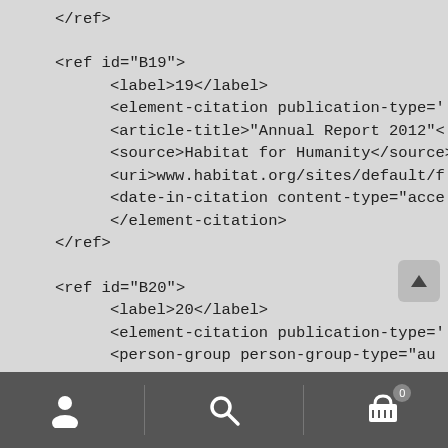</ref>

<ref id="B19">
    <label>19</label>
    <element-citation publication-type='
    <article-title>"Annual Report 2012"<
    <source>Habitat for Humanity</source
    <uri>www.habitat.org/sites/default/f
    <date-in-citation content-type="acce
    </element-citation>
</ref>

<ref id="B20">
    <label>20</label>
    <element-citation publication-type='
    <person-group person-group-type="au
        <name>